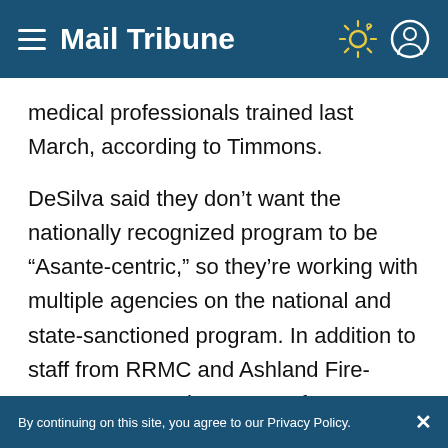Mail Tribune
medical professionals trained last March, according to Timmons.
DeSilva said they don’t want the nationally recognized program to be “Asante-centric,” so they’re working with multiple agencies on the national and state-sanctioned program. In addition to staff from RRMC and Ashland Fire-Rescue, new trainers came from Jackson County fire districts 3 and 5, Mercy Flights and Providence Medford Medical Center.
By continuing on this site, you agree to our Privacy Policy.